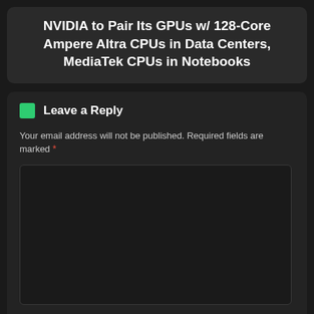NVIDIA to Pair Its GPUs w/ 128-Core Ampere Altra CPUs in Data Centers, MediaTek CPUs in Notebooks
Leave a Reply
Your email address will not be published. Required fields are marked *
Name *